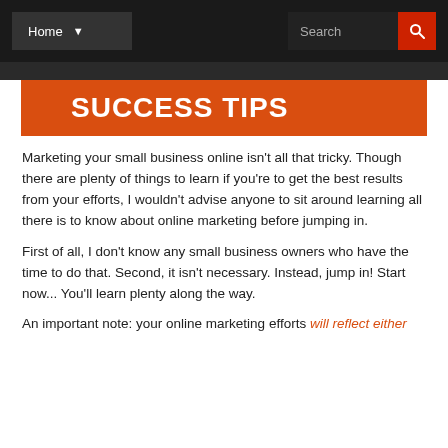Home | Search
SUCCESS TIPS
Marketing your small business online isn't all that tricky. Though there are plenty of things to learn if you're to get the best results from your efforts, I wouldn't advise anyone to sit around learning all there is to know about online marketing before jumping in.
First of all, I don't know any small business owners who have the time to do that. Second, it isn't necessary. Instead, jump in! Start now... You'll learn plenty along the way.
An important note: your online marketing efforts will reflect either